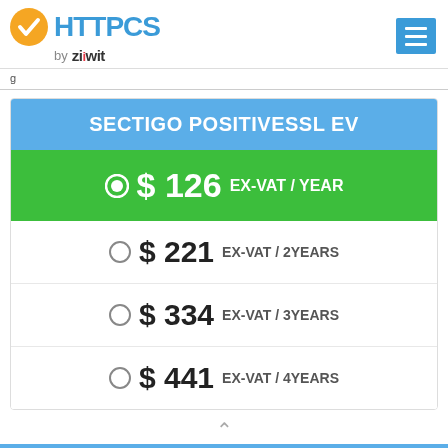[Figure (logo): HTTPCS by Ziwit logo with checkmark icon]
SECTIGO POSITIVESSL EV
◎ $ 126 EX-VAT / YEAR
○ $ 221 EX-VAT / 2YEARS
○ $ 334 EX-VAT / 3YEARS
○ $ 441 EX-VAT / 4YEARS
○ $ 534 EX-VAT / YEARS
We use cookies OK
Secure website